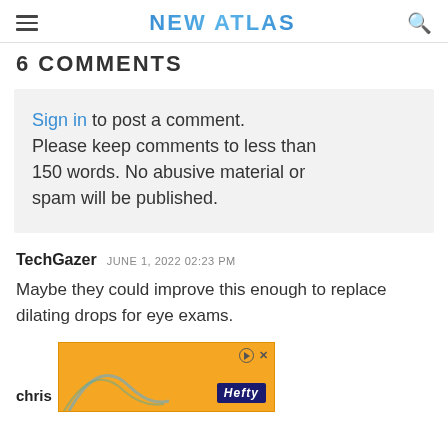NEW ATLAS
6 COMMENTS
Sign in to post a comment. Please keep comments to less than 150 words. No abusive material or spam will be published.
TechGazer  JUNE 1, 2022 02:23 PM
Maybe they could improve this enough to replace dilating drops for eye exams.
chris
[Figure (screenshot): Hefty brand advertisement banner with orange background, play and close controls, arch graphic, and Hefty logo]